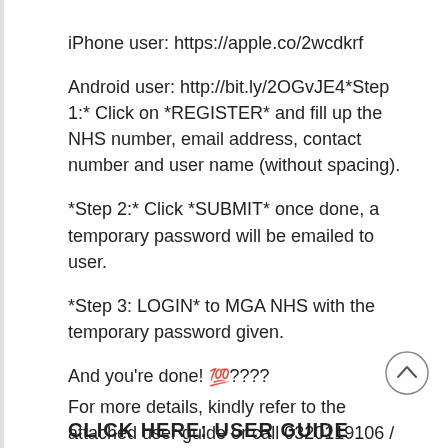iPhone user: https://apple.co/2wcdkrf
Android user: http://bit.ly/2OGvJE4*Step 1:* Click on *REGISTER* and fill up the NHS number, email address, contact number and user name (without spacing).
*Step 2:* Click *SUBMIT* once done, a temporary password will be emailed to user.
*Step 3: LOGIN* to MGA NHS with the temporary password given.
And you're done! 💯???? For more details, kindly refer to the attached user guide or call 0320119106 / 102 / 139.
CLICK HERE: USER GUIDE